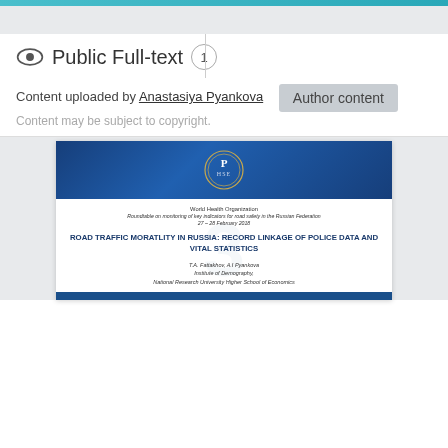Public Full-text 1
Content uploaded by Anastasiya Pyankova   Author content
Content may be subject to copyright.
[Figure (other): Document preview showing WHO roundtable paper titled 'ROAD TRAFFIC MORATLITY IN RUSSIA: RECORD LINKAGE OF POLICE DATA AND VITAL STATISTICS' by T.A. Fattakhov, A.I Pyankova, Institute of Demography, National Research University Higher School of Economics]
World Health Organization
Roundtable on monitoring of key indicators for road safety in the Russian Federation
27 – 28 February 2018
ROAD TRAFFIC MORATLITY IN RUSSIA: RECORD LINKAGE OF POLICE DATA AND VITAL STATISTICS
T.A. Fattakhov, A.I Pyankova
Institute of Demography,
National Research University Higher School of Economics